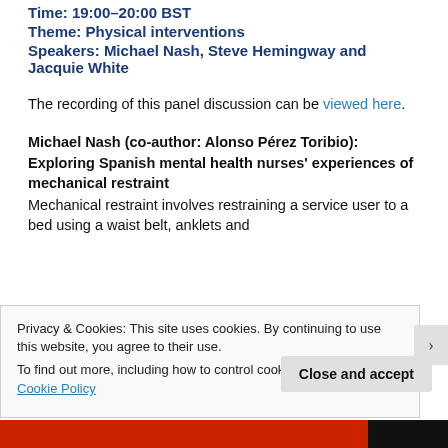Time: 19:00–20:00 BST
Theme: Physical interventions
Speakers: Michael Nash, Steve Hemingway and Jacquie White
The recording of this panel discussion can be viewed here.
Michael Nash (co-author: Alonso Pérez Toribio): Exploring Spanish mental health nurses' experiences of mechanical restraint
Mechanical restraint involves restraining a service user to a bed using a waist belt, anklets and
Privacy & Cookies: This site uses cookies. By continuing to use this website, you agree to their use.
To find out more, including how to control cookies, see here: Cookie Policy
Close and accept